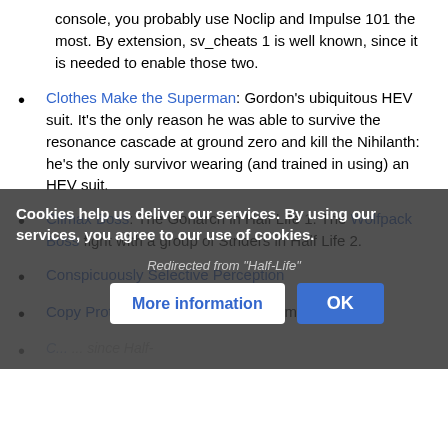console, you probably use Noclip and Impulse 101 the most. By extension, sv_cheats 1 is well known, since it is needed to enable those two.
Clothes Make the Superman: Gordon's ubiquitous HEV suit. It's the only reason he was able to survive the resonance cascade at ground zero and kill the Nihilanth: he's the only survivor wearing (and trained in using) an HEV suit.
Climax Boss: The Gonarch in Half Life 1. The Wolfpack Boss fight with a group of Striders in Half Life 2.
Conspicuously Selective Perception
Copy Protection: Steam, which one must have to ...
Cookies help us deliver our services. By using our services, you agree to our use of cookies.